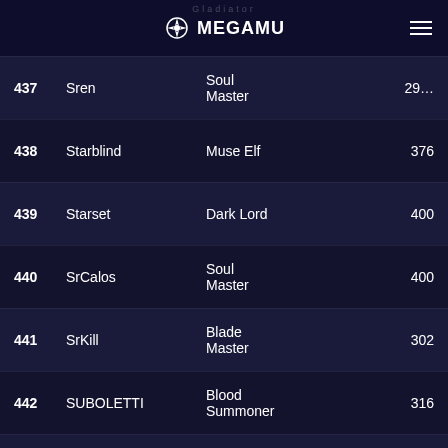MEGAMU
| # | Name | Class | Score |
| --- | --- | --- | --- |
| 437 | Sren | Soul Master | 29… |
| 438 | Starblind | Muse Elf | 376 |
| 439 | Starset | Dark Lord | 400 |
| 440 | SrCalos | Soul Master | 400 |
| 441 | SrKill | Blade Master | 302 |
| 442 | SUBOLETTI | Blood Summoner | 316 |
| 443 | SSuniin | Duel Master | 351 |
| 444 | SrHiorhan | Fist Master | 400 |
| 445 | SrVinne | Soul | 371 |